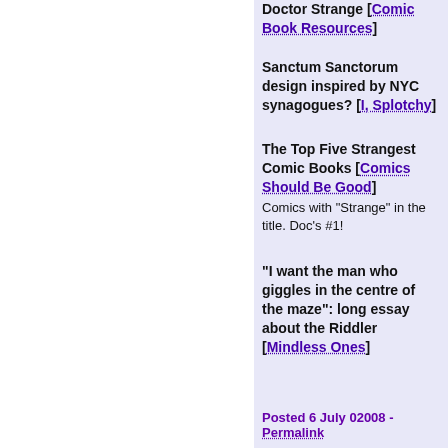Doctor Strange [Comic Book Resources]
Sanctum Sanctorum design inspired by NYC synagogues? [I, Splotchy]
The Top Five Strangest Comic Books [Comics Should Be Good] Comics with "Strange" in the title. Doc's #1!
"I want the man who giggles in the centre of the maze": long essay about the Riddler [Mindless Ones]
Posted 6 July 02008 - Permalink